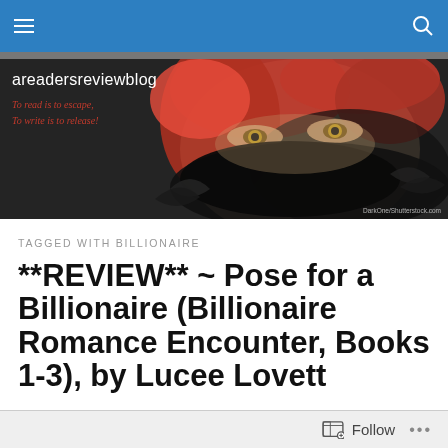areadersreviewblog — navigation bar
[Figure (photo): Blog banner image showing a woman with bright red hair and dramatic eye makeup, holding a dark feathered mask over the lower half of her face. Text overlay reads 'areadersreviewblog' and italic tagline 'To read is to escape, To write is to release!' Credit: DarkOne/Shutterstock.com]
TAGGED WITH BILLIONAIRE
**REVIEW** ~ Pose for a Billionaire (Billionaire Romance Encounter, Books 1-3), by Lucee Lovett
Follow